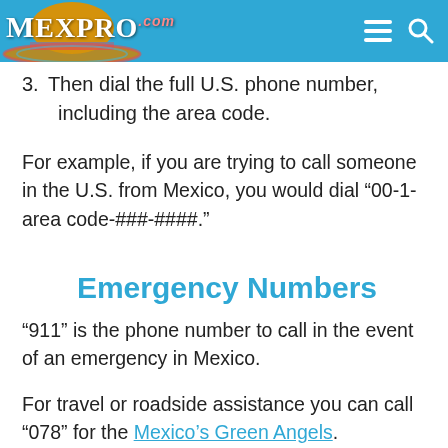Mexpro.com
3. Then dial the full U.S. phone number, including the area code.
For example, if you are trying to call someone in the U.S. from Mexico, you would dial “00-1-area code-###-####.”
Emergency Numbers
“911” is the phone number to call in the event of an emergency in Mexico.
For travel or roadside assistance you can call “078” for the Mexico’s Green Angels.